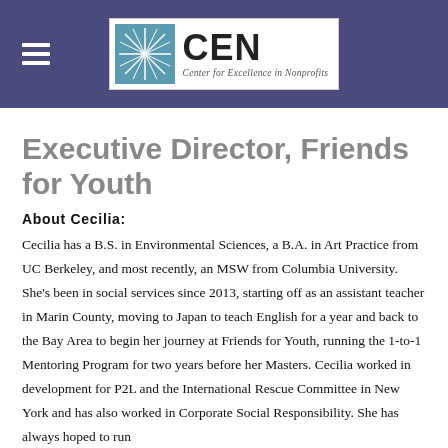CEN — Center for Excellence in Nonprofits
Executive Director, Friends for Youth
About Cecilia:
Cecilia has a B.S. in Environmental Sciences, a B.A. in Art Practice from UC Berkeley, and most recently, an MSW from Columbia University. She's been in social services since 2013, starting off as an assistant teacher in Marin County, moving to Japan to teach English for a year and back to the Bay Area to begin her journey at Friends for Youth, running the 1-to-1 Mentoring Program for two years before her Masters. Cecilia worked in development for P2L and the International Rescue Committee in New York and has also worked in Corporate Social Responsibility. She has always hoped to run